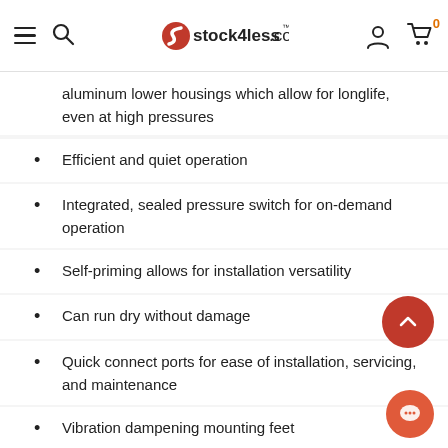stock4less.com
aluminum lower housings which allow for longlife, even at high pressures
Efficient and quiet operation
Integrated, sealed pressure switch for on-demand operation
Self-priming allows for installation versatility
Can run dry without damage
Quick connect ports for ease of installation, servicing, and maintenance
Vibration dampening mounting feet
Equipped with integrated bypass module to reduce cycling and provide a smoother flow